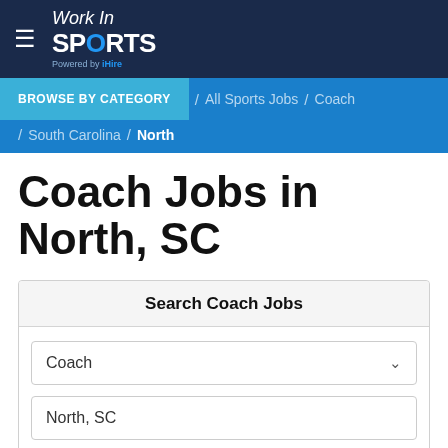Work In SPORTS
BROWSE BY CATEGORY / All Sports Jobs / Coach / South Carolina / North
Coach Jobs in North, SC
Search Coach Jobs
Coach
North, SC
SEARCH